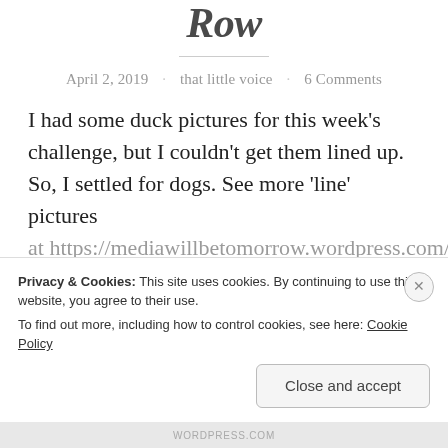Row
April 2, 2019 · that little voice · 6 Comments
I had some duck pictures for this week's challenge, but I couldn't get them lined up. So, I settled for dogs. See more 'line' pictures
at https://…wordpress.com/…ess
Privacy & Cookies: This site uses cookies. By continuing to use this website, you agree to their use.
To find out more, including how to control cookies, see here: Cookie Policy
Close and accept